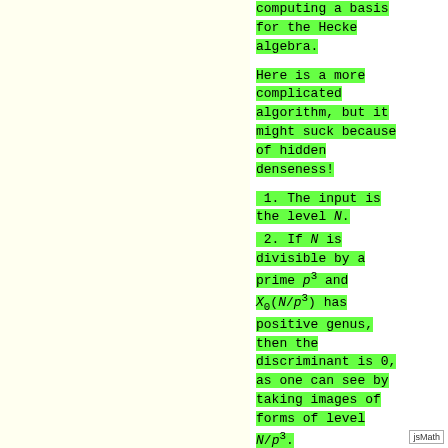computing a basis for the Hecke algebra.
Here is a more complicated algorithm, but it might suck because of hidden denseness!
1. The input is the level N.
2. If N is divisible by a prime p^3 and X_0(N/p^3) has positive genus, then the discriminant is 0, as one can see by taking images of forms of level N/p^3.
jsMath